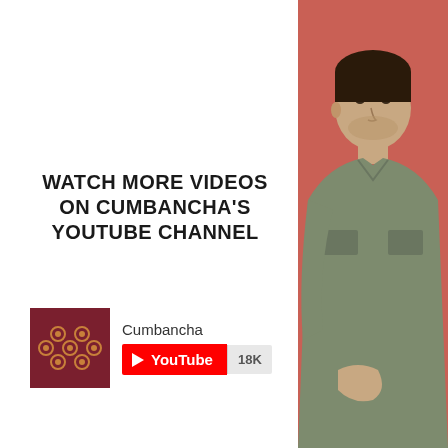WATCH MORE VIDEOS ON CUMBANCHA'S YOUTUBE CHANNEL
[Figure (logo): Cumbancha logo — dark red square with decorative circular dot pattern]
Cumbancha
[Figure (infographic): YouTube subscribe button with 18K subscriber count]
[Figure (photo): Man in olive jacket standing against a red wall, partial view on right side of page]